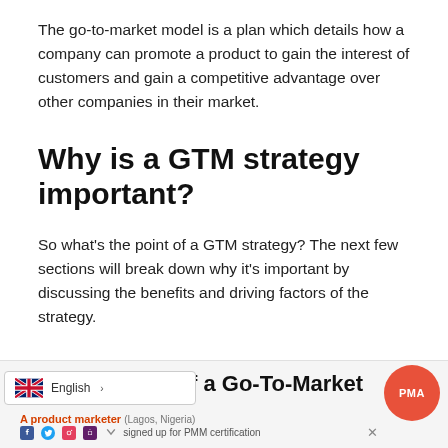The go-to-market model is a plan which details how a company can promote a product to gain the interest of customers and gain a competitive advantage over other companies in their market.
Why is a GTM strategy important?
So what's the point of a GTM strategy? The next few sections will break down why it's important by discussing the benefits and driving factors of the strategy.
f a Go-To-Market | English | A product marketer (Lagos, Nigeria) signed up for PMM certification | PMA